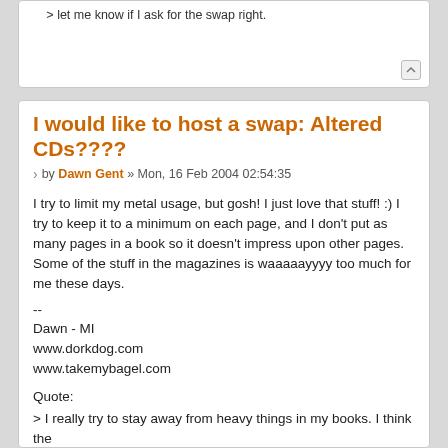... let me know if I ask for the swap right.
I would like to host a swap: Altered CDs????
by Dawn Gent » Mon, 16 Feb 2004 02:54:35
I try to limit my metal usage, but gosh!  I just love that stuff! :)  I try to keep it to a minimum on each page, and I don't put as many pages in a book so it doesn't impress upon other pages.  Some of the stuff in the magazines is waaaaayyyy too much for me these days.
--
Dawn - MI
www.dorkdog.com
www.takemybagel.com
Quote:
> I really try to stay away from heavy things in my books. I think the
> heaviest thing i have seen in a scrapbook, is in a CK issue about a year
> ago, someone put a small bottle full of sand in their page. I really wanted
> to see her put that page in her book and close the book! That is when i
> realized that embellishments in scrapbooks were getting a little out of
> hand!
> ...